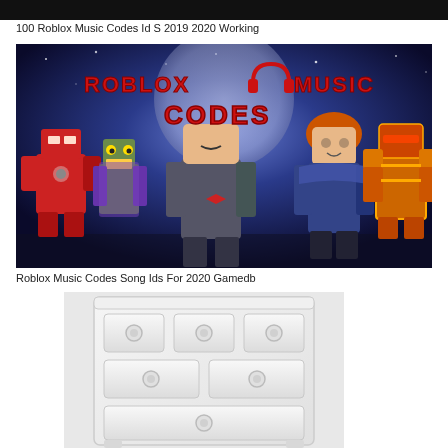[Figure (photo): Black banner/bar at the top of the page]
100 Roblox Music Codes Id S 2019 2020 Working
[Figure (photo): Roblox Music Codes promotional image showing Roblox characters against a space background with red bold text reading ROBLOX MUSIC CODES with headphone icon]
Roblox Music Codes Song Ids For 2020 Gamedb
[Figure (photo): White dresser/chest of drawers with circular handles, partially cropped]